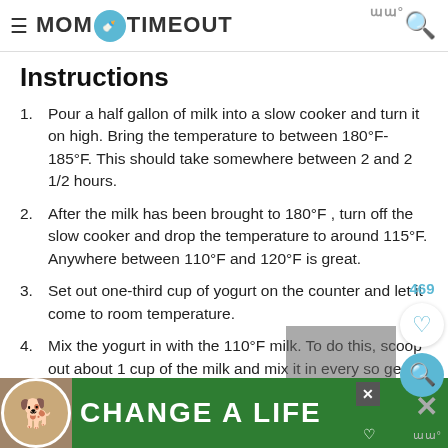MOM ON TIMEOUT
Instructions
Pour a half gallon of milk into a slow cooker and turn it on high. Bring the temperature to between 180°F-185°F. This should take somewhere between 2 and 2 1/2 hours.
After the milk has been brought to 180°F , turn off the slow cooker and drop the temperature to around 115°F. Anywhere between 110°F and 120°F is great.
Set out one-third cup of yogurt on the counter and let it come to room temperature.
Mix the yogurt in with the 110°F milk. To do this, scoop out about 1 cup of the milk and mix it in every so gently with the yogurt in a
[Figure (advertisement): CHANGE A LIFE green advertisement banner with dog image]